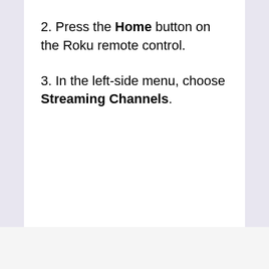2. Press the Home button on the Roku remote control.
3. In the left-side menu, choose Streaming Channels.